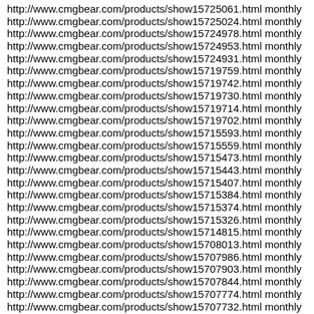http://www.cmgbear.com/products/show15725061.html monthly
http://www.cmgbear.com/products/show15725024.html monthly
http://www.cmgbear.com/products/show15724978.html monthly
http://www.cmgbear.com/products/show15724953.html monthly
http://www.cmgbear.com/products/show15724931.html monthly
http://www.cmgbear.com/products/show15719759.html monthly
http://www.cmgbear.com/products/show15719742.html monthly
http://www.cmgbear.com/products/show15719730.html monthly
http://www.cmgbear.com/products/show15719714.html monthly
http://www.cmgbear.com/products/show15719702.html monthly
http://www.cmgbear.com/products/show15715593.html monthly
http://www.cmgbear.com/products/show15715559.html monthly
http://www.cmgbear.com/products/show15715473.html monthly
http://www.cmgbear.com/products/show15715443.html monthly
http://www.cmgbear.com/products/show15715407.html monthly
http://www.cmgbear.com/products/show15715384.html monthly
http://www.cmgbear.com/products/show15715374.html monthly
http://www.cmgbear.com/products/show15715326.html monthly
http://www.cmgbear.com/products/show15714815.html monthly
http://www.cmgbear.com/products/show15708013.html monthly
http://www.cmgbear.com/products/show15707986.html monthly
http://www.cmgbear.com/products/show15707903.html monthly
http://www.cmgbear.com/products/show15707844.html monthly
http://www.cmgbear.com/products/show15707774.html monthly
http://www.cmgbear.com/products/show15707732.html monthly